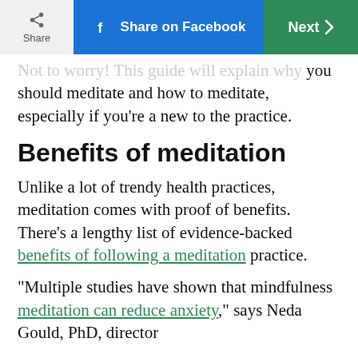Share | Share on Facebook | Next
Not to worry! This guide will explain why you should meditate and how to meditate, especially if you're a new to the practice.
Benefits of meditation
Unlike a lot of trendy health practices, meditation comes with proof of benefits. There's a lengthy list of evidence-backed benefits of following a meditation practice.
"Multiple studies have shown that mindfulness meditation can reduce anxiety," says Neda Gould, PhD, director